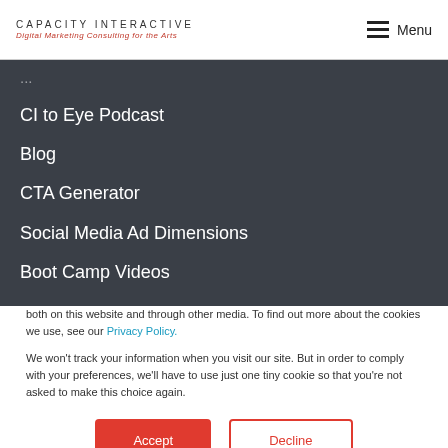CAPACITY INTERACTIVE - Digital Marketing Consulting for the Arts | Menu
CI to Eye Podcast
Blog
CTA Generator
Social Media Ad Dimensions
Boot Camp Videos
This website stores cookies on your computer. These cookies are used to improve your website experience and provide more personalized services to you, both on this website and through other media. To find out more about the cookies we use, see our Privacy Policy.
We won't track your information when you visit our site. But in order to comply with your preferences, we'll have to use just one tiny cookie so that you're not asked to make this choice again.
Accept | Decline